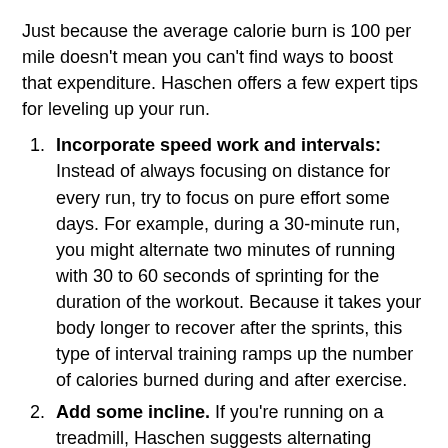Just because the average calorie burn is 100 per mile doesn't mean you can't find ways to boost that expenditure. Haschen offers a few expert tips for leveling up your run.
Incorporate speed work and intervals: Instead of always focusing on distance for every run, try to focus on pure effort some days. For example, during a 30-minute run, you might alternate two minutes of running with 30 to 60 seconds of sprinting for the duration of the workout. Because it takes your body longer to recover after the sprints, this type of interval training ramps up the number of calories burned during and after exercise.
Add some incline. If you're running on a treadmill, Haschen suggests alternating between flat and incline settings. If you're